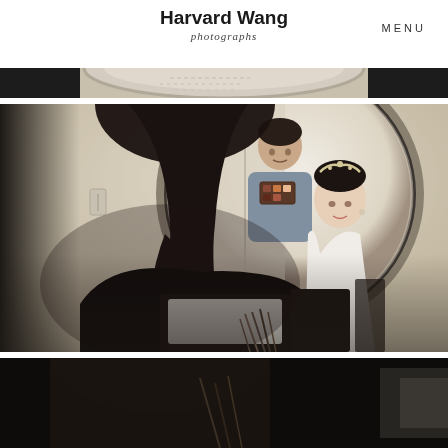Harvard Wang photographs
MENU
[Figure (photo): Top strip photo showing a circular mirror in a room, partial view of a scene with light beige tones and dark edges]
[Figure (photo): Main photo of a bride seen from behind sitting in front of a large circular mirror in a makeup room. In the mirror reflection, a makeup artist (man in gray shirt) holds a makeup palette while the bride wears a white garment and a hair accessory. Makeup tools visible in foreground.]
[Figure (photo): Bottom strip photo showing lower portion of a dark scene, continuing the makeup room setting with dark tones]